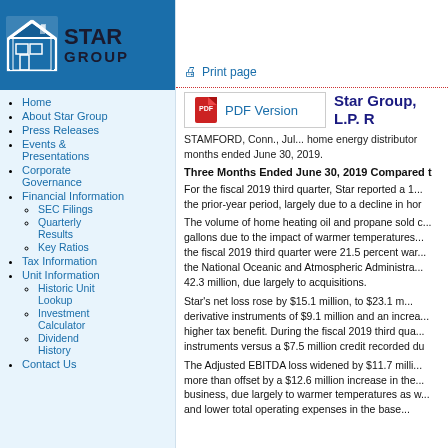[Figure (logo): Star Group logo with blue house icon and STAR GROUP text]
Home
About Star Group
Press Releases
Events & Presentations
Corporate Governance
Financial Information
SEC Filings
Quarterly Results
Key Ratios
Tax Information
Unit Information
Historic Unit Lookup
Investment Calculator
Dividend History
Contact Us
Print page
PDF Version
Star Group, L.P. R
STAMFORD, Conn., Jul... home energy distributor months ended June 30, 2019.
Three Months Ended June 30, 2019 Compared t
For the fiscal 2019 third quarter, Star reported a 1... the prior-year period, largely due to a decline in hor
The volume of home heating oil and propane sold c... gallons due to the impact of warmer temperatures... the fiscal 2019 third quarter were 21.5 percent war... the National Oceanic and Atmospheric Administra... 42.3 million, due largely to acquisitions.
Star's net loss rose by $15.1 million, to $23.1 m... derivative instruments of $9.1 million and an increa... higher tax benefit. During the fiscal 2019 third qua... instruments versus a $7.5 million credit recorded du
The Adjusted EBITDA loss widened by $11.7 milli... more than offset by a $12.6 million increase in the... business, due largely to warmer temperatures as w... and lower total operating expenses in the base...